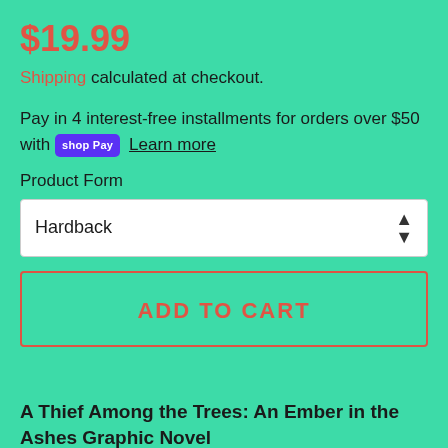$19.99
Shipping calculated at checkout.
Pay in 4 interest-free installments for orders over $50 with Shop Pay  Learn more
Product Form
Hardback
ADD TO CART
A Thief Among the Trees: An Ember in the Ashes Graphic Novel